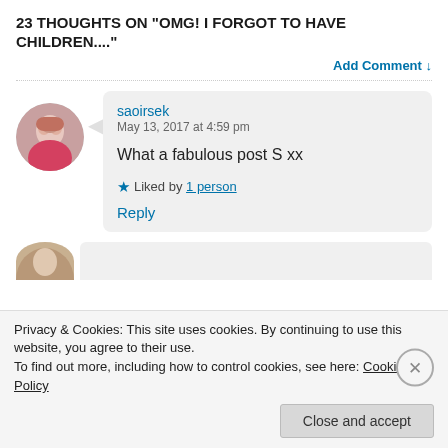23 THOUGHTS ON "OMG! I FORGOT TO HAVE CHILDREN...."
Add Comment ↓
saoirsek
May 13, 2017 at 4:59 pm

What a fabulous post S xx

★ Liked by 1 person

Reply
Privacy & Cookies: This site uses cookies. By continuing to use this website, you agree to their use.
To find out more, including how to control cookies, see here: Cookie Policy
Close and accept